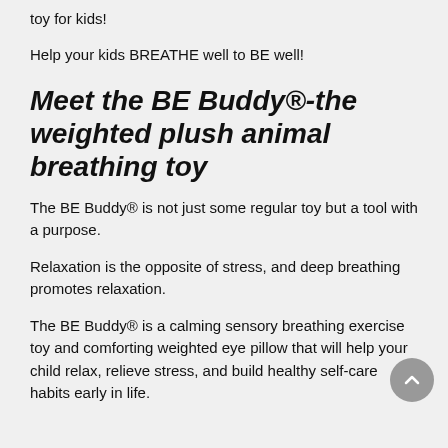toy for kids!
Help your kids BREATHE well to BE well!
Meet the BE Buddy®-the weighted plush animal breathing toy
The BE Buddy® is not just some regular toy but a tool with a purpose.
Relaxation is the opposite of stress, and deep breathing promotes relaxation.
The BE Buddy® is a calming sensory breathing exercise toy and comforting weighted eye pillow that will help your child relax, relieve stress, and build healthy self-care habits early in life.